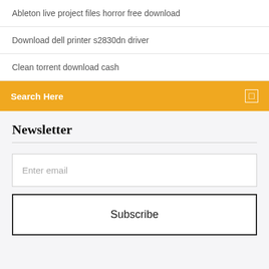Ableton live project files horror free download
Download dell printer s2830dn driver
Clean torrent download cash
Search Here
Newsletter
Enter email
Subscribe